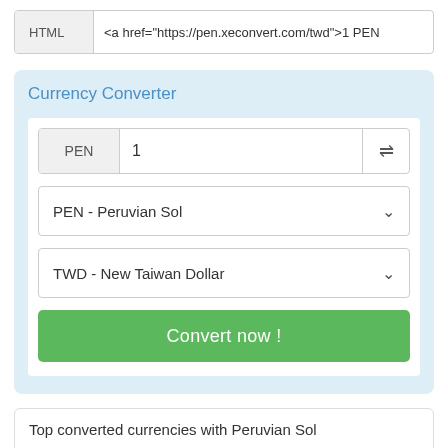HTML   <a href="https://pen.xeconvert.com/twd">1 PEN
Currency Converter
PEN  1  ⇌
PEN - Peruvian Sol
TWD - New Taiwan Dollar
Convert now !
Top converted currencies with Peruvian Sol
🇺🇸 US Dollar